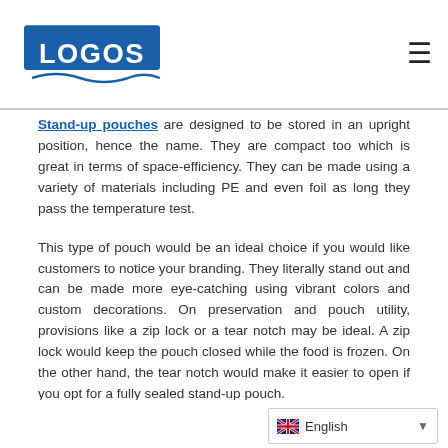LOGOS
Stand-up pouches are designed to be stored in an upright position, hence the name. They are compact too which is great in terms of space-efficiency. They can be made using a variety of materials including PE and even foil as long they pass the temperature test.
This type of pouch would be an ideal choice if you would like customers to notice your branding. They literally stand out and can be made more eye-catching using vibrant colors and custom decorations. On preservation and pouch utility, provisions like a zip lock or a tear notch may be ideal. A zip lock would keep the pouch closed while the food is frozen. On the other hand, the tear notch would make it easier to open if you opt for a fully sealed stand-up pouch.
English